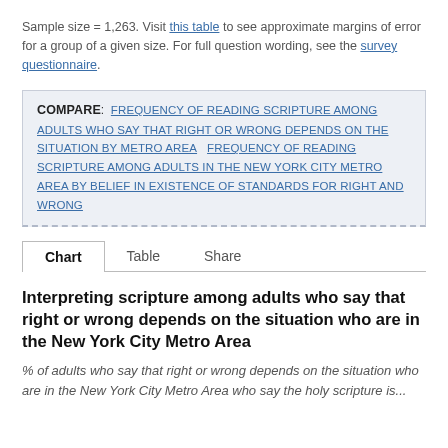Sample size = 1,263. Visit this table to see approximate margins of error for a group of a given size. For full question wording, see the survey questionnaire.
COMPARE: FREQUENCY OF READING SCRIPTURE AMONG ADULTS WHO SAY THAT RIGHT OR WRONG DEPENDS ON THE SITUATION BY METRO AREA   FREQUENCY OF READING SCRIPTURE AMONG ADULTS IN THE NEW YORK CITY METRO AREA BY BELIEF IN EXISTENCE OF STANDARDS FOR RIGHT AND WRONG
Chart   Table   Share
Interpreting scripture among adults who say that right or wrong depends on the situation who are in the New York City Metro Area
% of adults who say that right or wrong depends on the situation who are in the New York City Metro Area who say the holy scripture is...